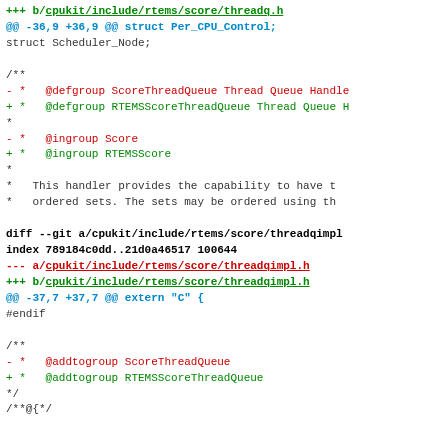+++ b/cpukit/include/rtems/score/threadq.h
@@ -36,9 +36,9 @@ struct Per_CPU_Control;
struct Scheduler_Node;
/**
- *   @defgroup ScoreThreadQueue Thread Queue Handle
+ *   @defgroup RTEMSScoreThreadQueue Thread Queue H
*
- *   @ingroup Score
+ *   @ingroup RTEMSScore
*
*   This handler provides the capability to have t
*   ordered sets. The sets may be ordered using th
diff --git a/cpukit/include/rtems/score/threadqimpl.h
index 789184c0dd..21d0a46517 100644
--- a/cpukit/include/rtems/score/threadqimpl.h
+++ b/cpukit/include/rtems/score/threadqimpl.h
@@ -37,7 +37,7 @@ extern "C" {
#endif
/**
- *   @addtogroup ScoreThreadQueue
+ *   @addtogroup RTEMSScoreThreadQueue
*/
/**@{*/
diff --git a/cpukit/include/rtems/score/timecounter
index 9d688eebe8..a719ab0fa8 100644
--- a/cpukit/include/rtems/score/timecounter.h